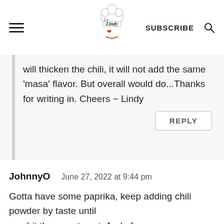La Lindy logo, SUBSCRIBE, search icon
will thicken the chili, it will not add the same 'masa' flavor. But overall would do...Thanks for writing in. Cheers ~ Lindy
REPLY
JohnnyO  June 27, 2022 at 9:44 pm
Gotta have some paprika, keep adding chili powder by taste until you hit the sweet spot. And of course